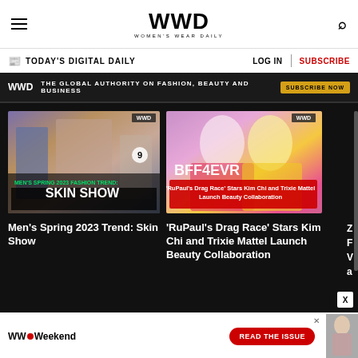WWD — Women's Wear Daily
TODAY'S DIGITAL DAILY — LOG IN | SUBSCRIBE
WWD — THE GLOBAL AUTHORITY ON FASHION, BEAUTY AND BUSINESS — SUBSCRIBE NOW
[Figure (screenshot): Thumbnail of men's spring 2023 fashion runway with overlay text 'MEN'S SPRING 2023 FASHION TREND: SKIN SHOW']
Men's Spring 2023 Trend: Skin Show
[Figure (screenshot): Thumbnail of two drag performers (Kim Chi and Trixie Mattel) with overlay text 'BFF4EVR' and 'RuPaul's Drag Race Stars Kim Chi and Trixie Mattel Launch Beauty Collaboration']
'RuPaul's Drag Race' Stars Kim Chi and Trixie Mattel Launch Beauty Collaboration
Z F V a
[Figure (screenshot): Bottom advertisement banner for WWD Weekend with READ THE ISSUE button and fashion photo]
WWD Weekend — READ THE ISSUE